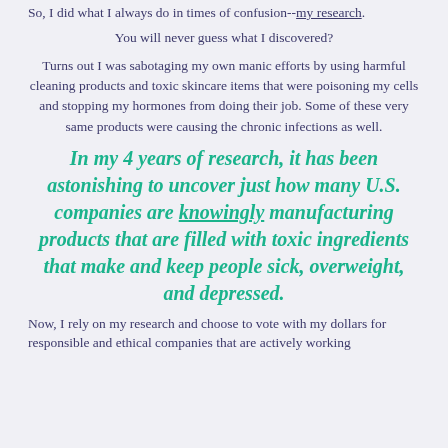So, I did what I always do in times of confusion--my research.
You will never guess what I discovered?
Turns out I was sabotaging my own manic efforts by using harmful cleaning products and toxic skincare items that were poisoning my cells and stopping my hormones from doing their job. Some of these very same products were causing the chronic infections as well.
In my 4 years of research, it has been astonishing to uncover just how many U.S. companies are knowingly manufacturing products that are filled with toxic ingredients that make and keep people sick, overweight, and depressed.
Now, I rely on my research and choose to vote with my dollars for responsible and ethical companies that are actively working